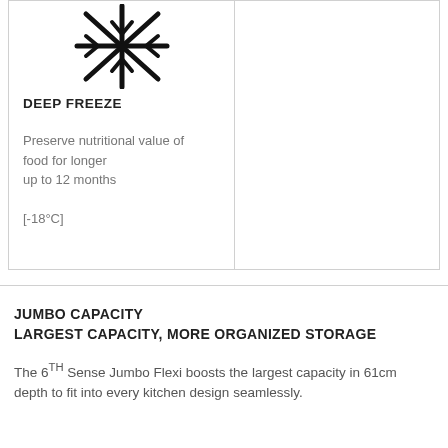[Figure (illustration): Snowflake / deep freeze icon — a large asterisk-style snowflake symbol in black]
DEEP FREEZE
Preserve nutritional value of food for longer up to 12 months
[-18°C]
JUMBO CAPACITY
LARGEST CAPACITY, MORE ORGANIZED STORAGE
The 6TH Sense Jumbo Flexi boosts the largest capacity in 61cm depth to fit into every kitchen design seamlessly.